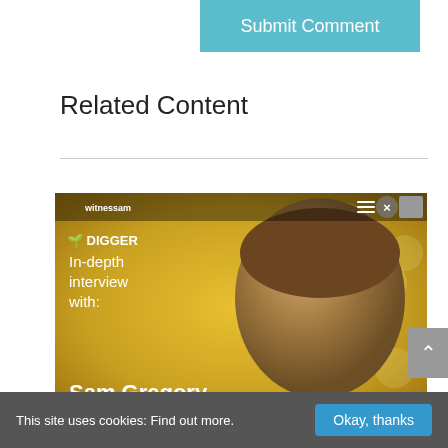Submit Comment
Related Content
[Figure (screenshot): Video thumbnail showing WITNESS DIGGER in-depth interview with Sam Gregory. Yellow/gold bokeh background with person's face. Text reads: DIGGER In-depth interview with: Sam Gregory WITNESS]
This site uses cookies: Find out more.
Okay, thanks